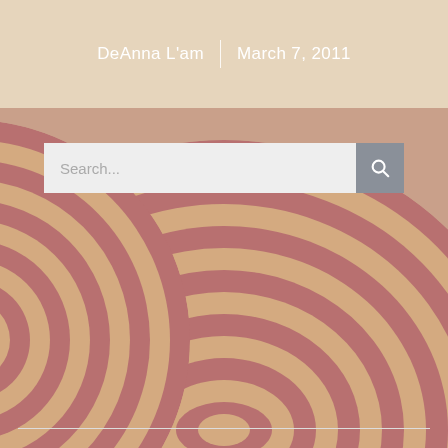DeAnna L'am | March 7, 2011
[Figure (illustration): Decorative circular concentric arc pattern in muted rose/burgundy and gold tones, partially visible as a large circle shape, with a beige header overlay at the top and a search bar overlaying the image]
Share This Post
[Figure (infographic): Three social media icons: Facebook, LinkedIn, Twitter]